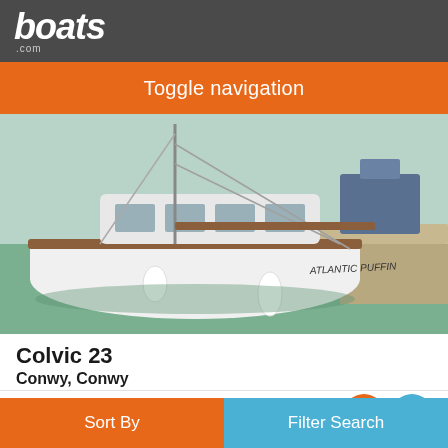boats.com
Toggle navigation
[Figure (photo): A white sailboat named 'Atlantic Puffin' with a wooden trim moored at a marina. The boat is white with brown/teak trim along the hull. A dock and other boats are visible in the background. The water is green.]
Colvic 23
Conwy, Conwy
1980
£14,995
Seller Boatpoint at Conwy Marina
Sort By   Filter Search